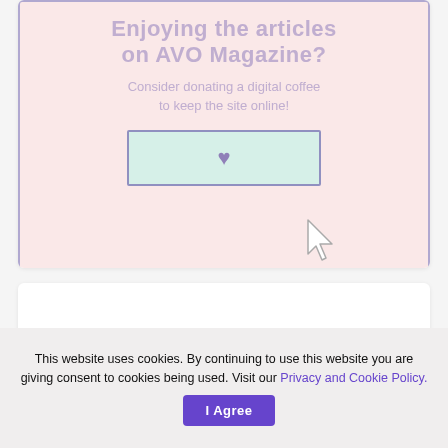[Figure (screenshot): Donation prompt card for AVO Magazine with pink background and purple border, showing title 'Enjoying the articles on AVO Magazine?', subtitle text 'Consider donating a digital coffee to keep the site online!', a mint-green button with a purple heart icon, and a mouse cursor SVG pointing at the button.]
This website uses cookies. By continuing to use this website you are giving consent to cookies being used. Visit our Privacy and Cookie Policy.
I Agree